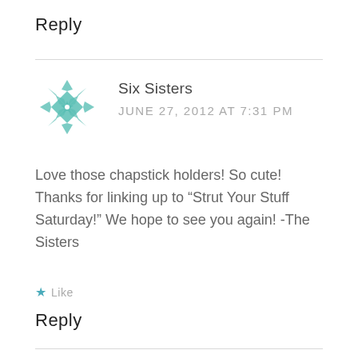Reply
[Figure (logo): Six Sisters logo: teal geometric flower/quilt pattern made of overlapping diamond shapes with star center]
Six Sisters
JUNE 27, 2012 AT 7:31 PM
Love those chapstick holders! So cute! Thanks for linking up to “Strut Your Stuff Saturday!” We hope to see you again! -The Sisters
★ Like
Reply